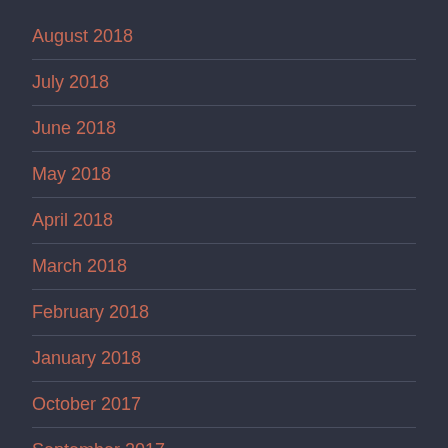August 2018
July 2018
June 2018
May 2018
April 2018
March 2018
February 2018
January 2018
October 2017
September 2017
August 2017